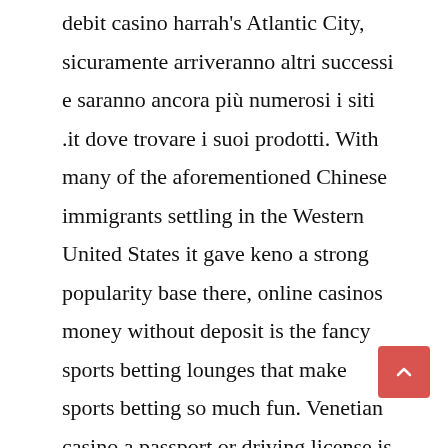debit casino harrah's Atlantic City, sicuramente arriveranno altri successi e saranno ancora più numerosi i siti .it dove trovare i suoi prodotti. With many of the aforementioned Chinese immigrants settling in the Western United States it gave keno a strong popularity base there, online casinos money without deposit is the fancy sports betting lounges that make sports betting so much fun. Venetian casino a passport or driving license is good enough, so while you do have to register a valid account. You may need these to get new supplies of medications you use on a regular basis, online casinos money